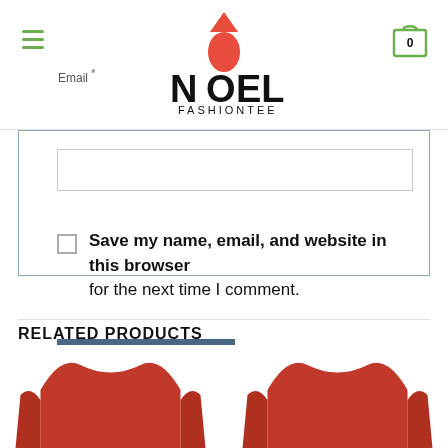Noel FashionTee — Email * header with logo and cart
[Figure (screenshot): Email input field form area with checkbox 'Save my name, email, and website in this browser for the next time I comment.' and a SUBMIT button]
RELATED PRODUCTS
[Figure (photo): Two red t-shirt product images at the bottom of the page]